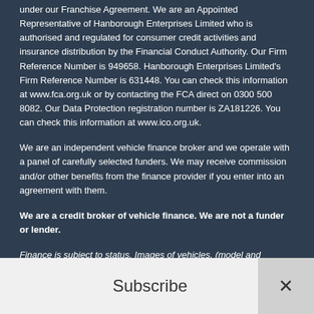under our Franchise Agreement. We are an Appointed Representative of Hanborough Enterprises Limited who is authorised and regulated for consumer credit activities and insurance distribution by the Financial Conduct Authority. Our Firm Reference Number is 949658. Hanborough Enterprises Limited's Firm Reference Number is 631448. You can check this information at www.fca.org.uk or by contacting the FCA direct on 0300 500 8082. Our Data Protection registration number is ZA181226. You can check this information at www.ico.org.uk.
We are an independent vehicle finance broker and we operate with a panel of carefully selected funders. We may receive commission and/or other benefits from the finance provider if you enter into an agreement with them.
We are a credit broker of vehicle finance. We are not a funder or lender.
Finance is subject to status. Images of vehicles, (model and derivative), accessories, and/or paint and interior colours are for illustration purposes only and may not be exact. Please check this independently
Subscribe